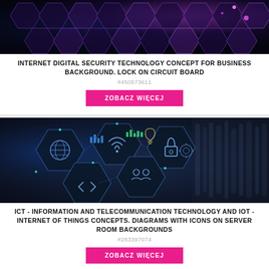[Figure (photo): Dark hexagonal network/technology background with purple and blue honeycomb pattern]
INTERNET DIGITAL SECURITY TECHNOLOGY CONCEPT FOR BUSINESS BACKGROUND. LOCK ON CIRCUIT BOARD
#450573611
ZOBACZ WIĘCEJ
[Figure (photo): ICT and IoT concept image showing holographic hexagonal icons (globe, lock, wifi, gears, charts, people) overlaid on server room background with hands]
ICT - INFORMATION AND TELECOMMUNICATION TECHNOLOGY AND IOT - INTERNET OF THINGS CONCEPTS. DIAGRAMS WITH ICONS ON SERVER ROOM BACKGROUNDS
#283397074
ZOBACZ WIĘCEJ